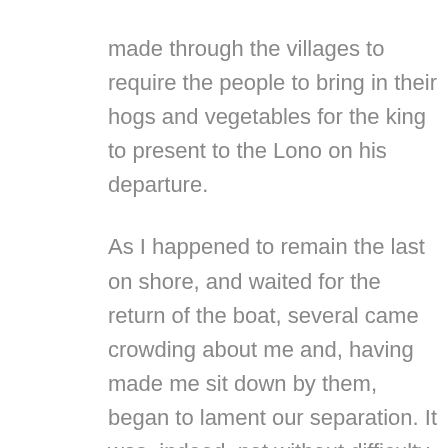made through the villages to require the people to bring in their hogs and vegetables for the king to present to the Lono on his departure.

As I happened to remain the last on shore, and waited for the return of the boat, several came crowding about me and, having made me sit down by them, began to lament our separation. It was, indeed, not without difficulty I was able to quit them.